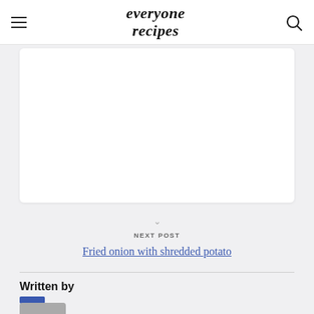everyone recipes
[Figure (other): Advertisement or content placeholder white box]
NEXT POST
Fried onion with shredded potato
Written by
Everyone Recipes